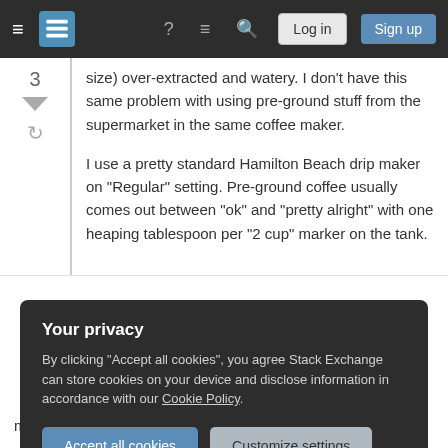Stack Exchange navigation bar with hamburger menu, logo, icons, Log in and Sign up buttons
size) over-extracted and watery. I don't have this same problem with using pre-ground stuff from the supermarket in the same coffee maker.

I use a pretty standard Hamilton Beach drip maker on "Regular" setting. Pre-ground coffee usually comes out between "ok" and "pretty alright" with one heaping tablespoon per "2 cup" marker on the tank.
Your privacy
By clicking "Accept all cookies", you agree Stack Exchange can store cookies on your device and disclose information in accordance with our Cookie Policy.
Accept all cookies   Customize settings
measured by weight).